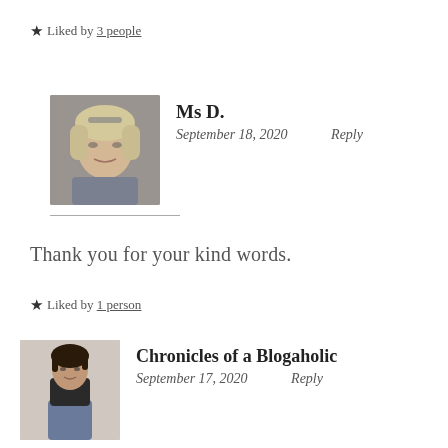★ Liked by 3 people
[Figure (photo): Avatar photo of Ms D., a blonde woman]
Ms D.
September 18, 2020    Reply
Thank you for your kind words.
★ Liked by 1 person
[Figure (photo): Avatar photo of Chronicles of a Blogaholic, a person in a black top]
Chronicles of a Blogaholic
September 17, 2020    Reply